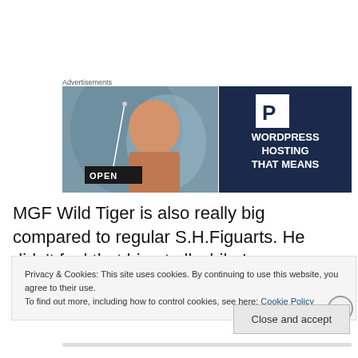Advertisements
[Figure (photo): Advertisement banner for WordPress Hosting showing a woman flipping an Open sign, with a dark blue panel showing the WordPress P logo and text 'WORDPRESS HOSTING THAT MEANS']
MGF Wild Tiger is also really big compared to regular S.H.Figuarts. He didn't feel that big at all while I was
Privacy & Cookies: This site uses cookies. By continuing to use this website, you agree to their use.
To find out more, including how to control cookies, see here: Cookie Policy
Close and accept